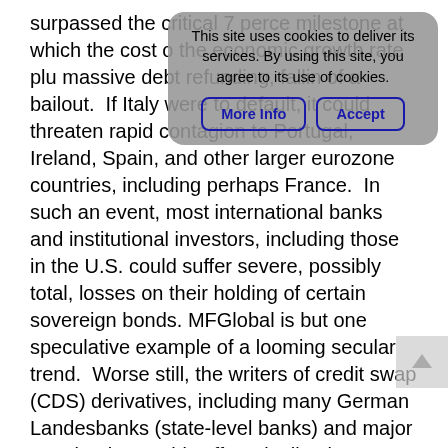surpassed the critical 7 percent milestone at which the cost of the economic growth rate plus massive debt refunding, falling of a bailout.  If Italy were to default, it could threaten rapid contagion to Portugal, Ireland, Spain, and other larger eurozone countries, including perhaps France.  In such an event, most international banks and institutional investors, including those in the U.S. could suffer severe, possibly total, losses on their holding of certain sovereign bonds.  MFGlobal is but one speculative example of a looming secular trend.  Worse still, the writers of credit swap (CDS) derivatives, including many German Landesbanks (state-level banks) and major U.S. banks, could suffer crippling losses.
“This would lead to Phase Two of the collapse:  a renewed